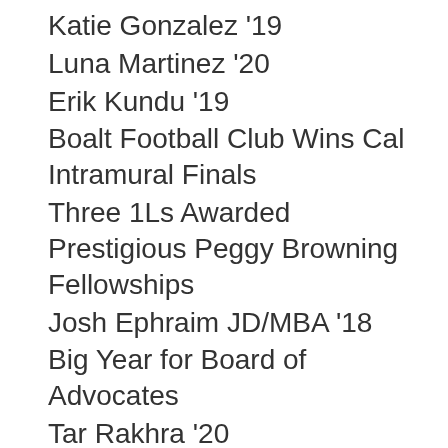Katie Gonzalez '19
Luna Martinez '20
Erik Kundu '19
Boalt Football Club Wins Cal Intramural Finals
Three 1Ls Awarded Prestigious Peggy Browning Fellowships
Josh Ephraim JD/MBA '18
Big Year for Board of Advocates
Tar Rakhra '20
Anna Lyons '18
Richard Treadwell '18 & JoAnna Tonini '18
Wai Wai Nu LL.M. '18 Receives HRC Award
Board of Advocates Trial Team Heads to Regionals
Vanessa Godinez '18